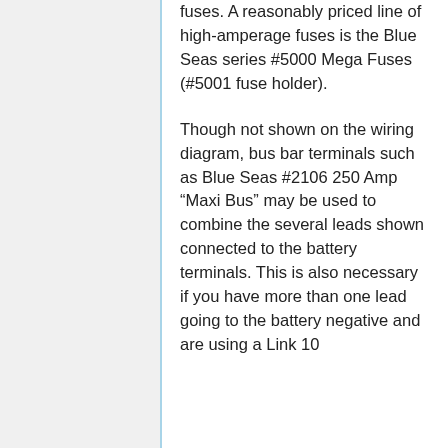fuses. A reasonably priced line of high-amperage fuses is the Blue Seas series #5000 Mega Fuses (#5001 fuse holder).
Though not shown on the wiring diagram, bus bar terminals such as Blue Seas #2106 250 Amp “Maxi Bus” may be used to combine the several leads shown connected to the battery terminals. This is also necessary if you have more than one lead going to the battery negative and are using a Link 10